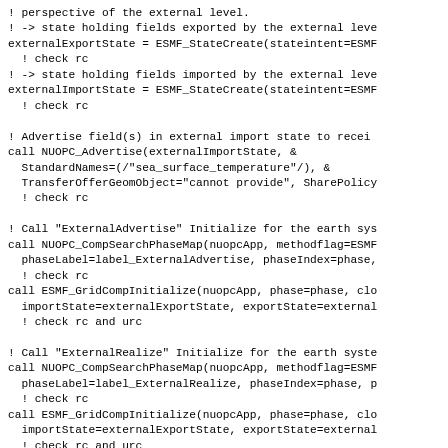! perspective of the external level.
! -> state holding fields exported by the external leve
externalExportState = ESMF_StateCreate(stateintent=ESMF
  ! check rc
! -> state holding fields imported by the external leve
externalImportState = ESMF_StateCreate(stateintent=ESMF
  ! check rc

! Advertise field(s) in external import state to recei
call NUOPC_Advertise(externalImportState, &
  StandardNames=(/'sea_surface_temperature'/), &
  TransferOfferGeomObject="cannot provide", SharePolicy
  ! check rc

! Call "ExternalAdvertise" Initialize for the earth sys
call NUOPC_CompSearchPhaseMap(nuopcApp, methodflag=ESMF
  phaseLabel=label_ExternalAdvertise, phaseIndex=phase,
  ! check rc
call ESMF_GridCompInitialize(nuopcApp, phase=phase, clo
  importState=externalExportState, exportState=external
  ! check rc and urc

! Call "ExternalRealize" Initialize for the earth syste
call NUOPC_CompSearchPhaseMap(nuopcApp, methodflag=ESMF
  phaseLabel=label_ExternalRealize, phaseIndex=phase, p
  ! check rc
call ESMF_GridCompInitialize(nuopcApp, phase=phase, clo
  importState=externalExportState, exportState=external
  ! check rc and urc

! Call "ExternalDataInit" Initialize for the earth syst